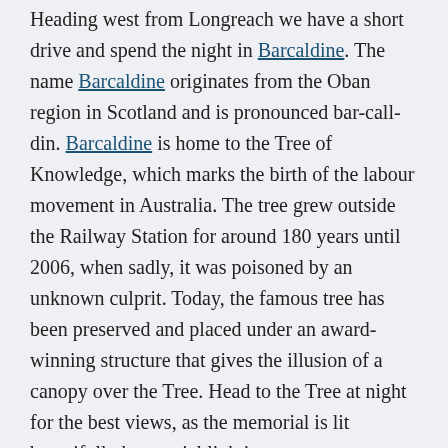Heading west from Longreach we have a short drive and spend the night in Barcaldine. The name Barcaldine originates from the Oban region in Scotland and is pronounced bar-call-din. Barcaldine is home to the Tree of Knowledge, which marks the birth of the labour movement in Australia. The tree grew outside the Railway Station for around 180 years until 2006, when sadly, it was poisoned by an unknown culprit. Today, the famous tree has been preserved and placed under an award-winning structure that gives the illusion of a canopy over the Tree. Head to the Tree at night for the best views, as the memorial is lit beautifully by special lighting.
In Barcaldine, we spend the afternoon learning about the origins of the Australian Labour Party, and view architectural curiosities, such as the masonic lodge -